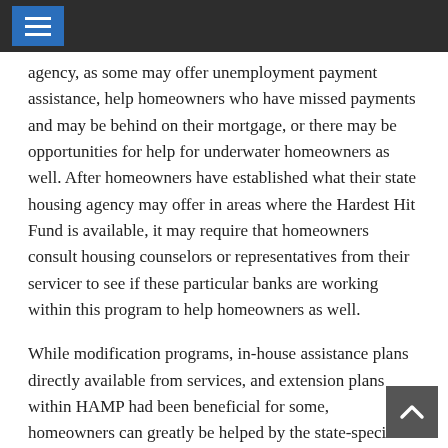[navigation bar with menu icon]
agency, as some may offer unemployment payment assistance, help homeowners who have missed payments and may be behind on their mortgage, or there may be opportunities for help for underwater homeowners as well. After homeowners have established what their state housing agency may offer in areas where the Hardest Hit Fund is available, it may require that homeowners consult housing counselors or representatives from their servicer to see if these particular banks are working within this program to help homeowners as well.
While modification programs, in-house assistance plans directly available from services, and extension plans within HAMP had been beneficial for some, homeowners can greatly be helped by the state-specific plans but in areas where homeowners are unsure of what opportunities may be available, the Treasury Department offers a list of state's where these options are available and state